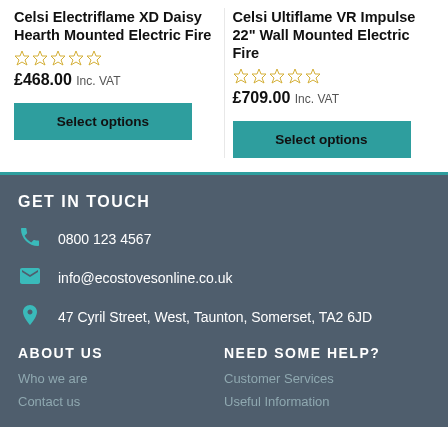Celsi Electriflame XD Daisy Hearth Mounted Electric Fire
£468.00 Inc. VAT
Select options
Celsi Ultiflame VR Impulse 22" Wall Mounted Electric Fire
£709.00 Inc. VAT
Select options
GET IN TOUCH
0800 123 4567
info@ecostovesonline.co.uk
47 Cyril Street, West, Taunton, Somerset, TA2 6JD
ABOUT US
NEED SOME HELP?
Who we are
Contact us
Customer Services
Useful Information